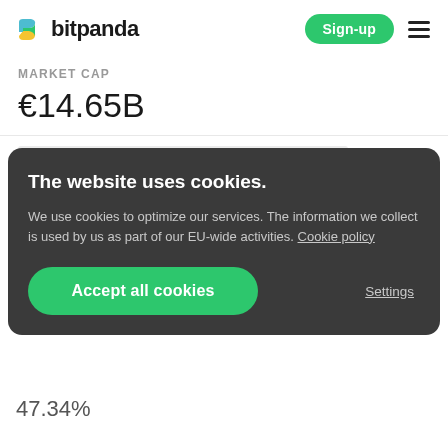bitpanda — Sign-up
MARKET CAP
€14.65B
The website uses cookies. We use cookies to optimize our services. The information we collect is used by us as part of our EU-wide activities. Cookie policy
Accept all cookies
Settings
47.34%